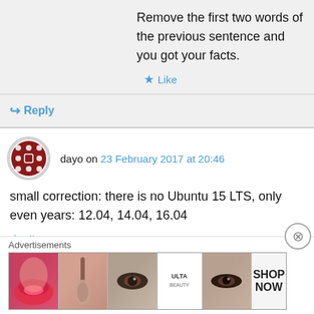Remove the first two words of the previous sentence and you got your facts.
Like
Reply
dayo on 23 February 2017 at 20:46
small correction: there is no Ubuntu 15 LTS, only even years: 12.04, 14.04, 16.04
Like
Reply
[Figure (infographic): Advertisements banner with beauty/makeup images and ULTA logo with SHOP NOW text]